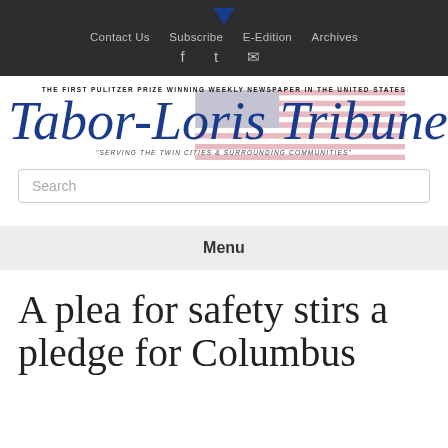Contact Us  Subscribe  E-Edition  Archives
[Figure (logo): Tabor-Loris Tribune newspaper masthead logo with text 'THE FIRST PULITZER PRIZE WINNING WEEKLY NEWSPAPER IN THE UNITED STATES' above and 'SERVING THE TWIN CITIES & SURROUNDING COMMUNITIES' below, with an American flag image in the background]
Search
Menu
A plea for safety stirs a pledge for Columbus